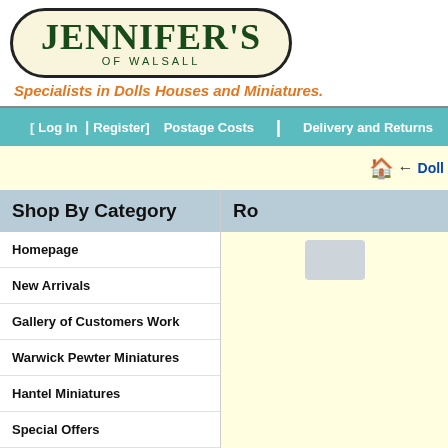[Figure (logo): Jennifer's of Walsall logo — oval badge with dark green serif text 'JENNIFER'S' and 'OF WALSALL' subtitle on cream background with dark border]
Specialists in Dolls Houses and Miniatures.
[ Log In | Register ]  Postage Costs  |  Delivery and Returns  |  F
🏠 ← Doll
Shop By Category
Ro
Homepage
New Arrivals
Gallery of Customers Work
Warwick Pewter Miniatures
Hantel Miniatures
Special Offers
1/24th Scale
Bathrooms
Card Tiles
Chrysphon Kits